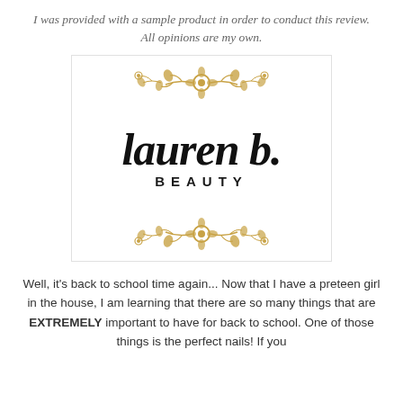I was provided with a sample product in order to conduct this review. All opinions are my own.
[Figure (logo): Lauren B. Beauty logo with script 'lauren b.' text, 'BEAUTY' subtitle in spaced capitals, and decorative golden floral/botanical ornaments at top and bottom, inside a white box with light border.]
Well, it's back to school time again... Now that I have a preteen girl in the house, I am learning that there are so many things that are EXTREMELY important to have for back to school. One of those things is the perfect nails! If you